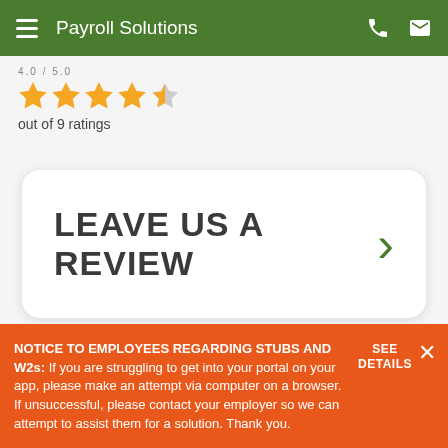Payroll Solutions
4.0 out of 5 / out of 9 ratings
LEAVE US A REVIEW
NOTICE TO EMPLOYEES REGARDING STUBS AND W2s: If you are struggling to get into your portal on your app, please make an attempt via computer on a browser. If unsuccessful, please contact your employer so we can attempt to assist them for a solution. Thank you.